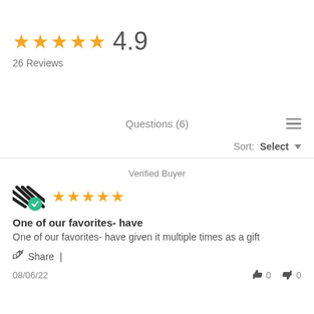[Figure (other): Five gold stars rating display with score 4.9]
26 Reviews
Questions (6)
Sort: Select
Verified Buyer
[Figure (other): Reviewer avatar with striped pattern and green verified checkmark badge, followed by five gold stars]
One of our favorites- have
One of our favorites- have given it multiple times as a gift
Share |
08/06/22
0  0